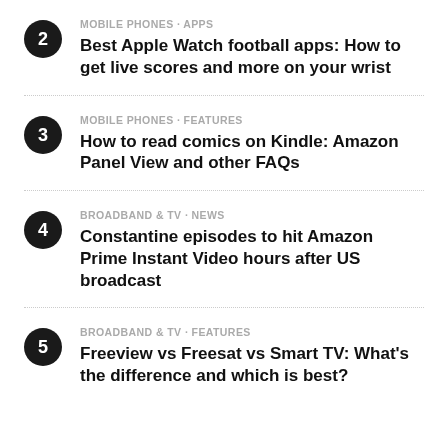2 · MOBILE PHONES · APPS · Best Apple Watch football apps: How to get live scores and more on your wrist
3 · MOBILE PHONES · FEATURES · How to read comics on Kindle: Amazon Panel View and other FAQs
4 · BROADBAND & TV · NEWS · Constantine episodes to hit Amazon Prime Instant Video hours after US broadcast
5 · BROADBAND & TV · FEATURES · Freeview vs Freesat vs Smart TV: What's the difference and which is best?